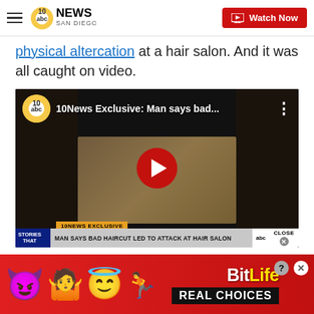10News San Diego — Watch Now
physical altercation at a hair salon. And it was all caught on video.
[Figure (screenshot): Embedded YouTube video player showing '10News Exclusive: Man says bad...' with a play button overlay and lower ticker reading 'MAN SAYS BAD HAIRCUT LED TO ATTACK AT HAIR SALON']
[Figure (advertisement): BitLife mobile game advertisement banner with emoji characters (devil, woman, angel, sperm) on red background with 'REAL CHOICES' text]